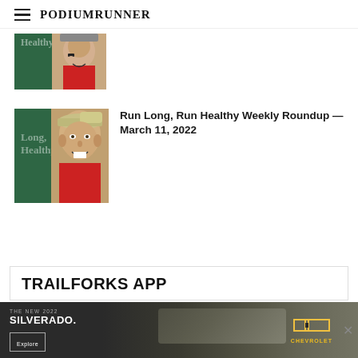PodiumRunner
[Figure (photo): Partial thumbnail of Run Long Run Healthy article showing green background with text and a man's face, cropped at top]
[Figure (photo): Thumbnail for Run Long Run Healthy article showing green background with 'Long, Healthy' text and a man wearing a cap]
Run Long, Run Healthy Weekly Roundup — March 11, 2022
TRAILFORKS APP
[Figure (photo): Chevrolet advertisement banner: THE NEW 2022 SILVERADO. Explore. Chevrolet logo with truck image.]